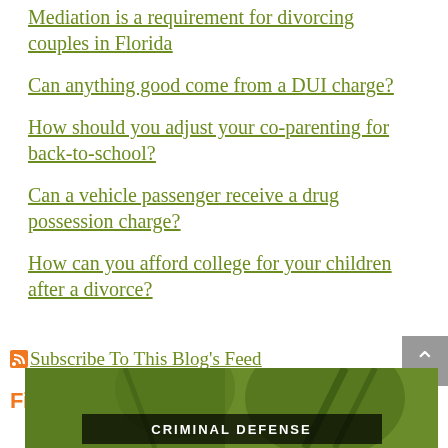Mediation is a requirement for divorcing couples in Florida
Can anything good come from a DUI charge?
How should you adjust your co-parenting for back-to-school?
Can a vehicle passenger receive a drug possession charge?
How can you afford college for your children after a divorce?
Subscribe To This Blog's Feed
[Figure (logo): FindLaw Network logo with orange FindLaw text and gray Network label]
[Figure (photo): Green-toned background image with dark bar reading CRIMINAL DEFENSE at the bottom]